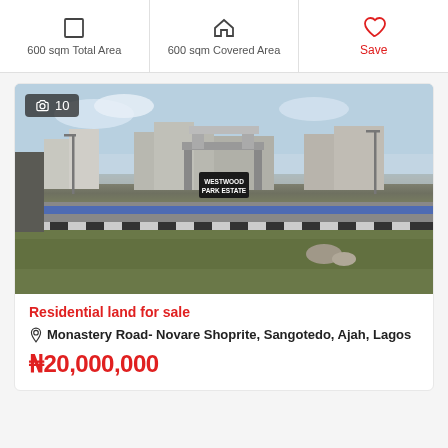600 sqm Total Area
600 sqm Covered Area
Save
[Figure (photo): Entrance of Westwood Park Estate with gate, signboard reading WESTWOOD PARK ESTATE, street lights, overgrown grass in foreground, blue road dividers]
Residential land for sale
Monastery Road- Novare Shoprite, Sangotedo, Ajah, Lagos
₦20,000,000